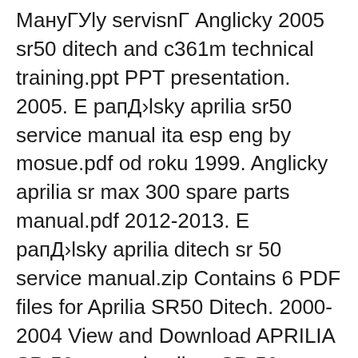МануГУly servisnГ Anglicky 2005 sr50 ditech and c361m technical training.ppt PPT presentation. 2005. Е рапД›lsky aprilia sr50 service manual ita esp eng by mosue.pdf od roku 1999. Anglicky aprilia sr max 300 spare parts manual.pdf 2012-2013. Е рапД›lsky aprilia ditech sr 50 service manual.zip Contains 6 PDF files for Aprilia SR50 Ditech. 2000-2004 View and Download APRILIA SR 50 manual online. SR 50 Motorcycle pdf manual download. APRILIA SR 50 Service And Repair Manual 193 pages. APRILIA SR 50 - 2000 Manual 192 pages. APRILIA SR 50 - USE AND MAINTENANCE BOOK Maintenance Manual 176 pages. Related Manuals for APRILIA SR 50 .